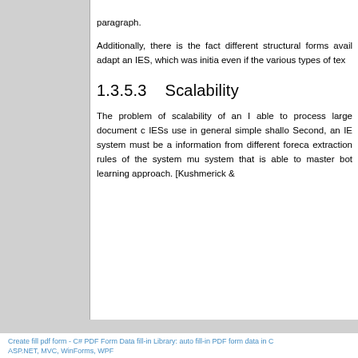paragraph.
Additionally, there is the fact different structural forms avail adapt an IES, which was initia even if the various types of tex
1.3.5.3    Scalability
The problem of scalability of an I able to process large document c IESs use in general simple shallo Second, an IE system must be a information from different foreca extraction rules of the system mu system that is able to master bot learning approach. [Kushmerick &
Create fill pdf form - C# PDF Form Data fill-in Library: auto fill-in PDF form data in C ASP.NET, MVC, WinForms, WPF